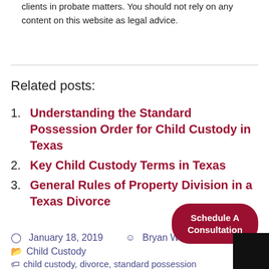clients in probate matters. You should not rely on any content on this website as legal advice.
Related posts:
Understanding the Standard Possession Order for Child Custody in Texas
Key Child Custody Terms in Texas
General Rules of Property Division in a Texas Divorce
January 18, 2019   Bryan Willis
Child Custody
child custody, divorce, standard possession